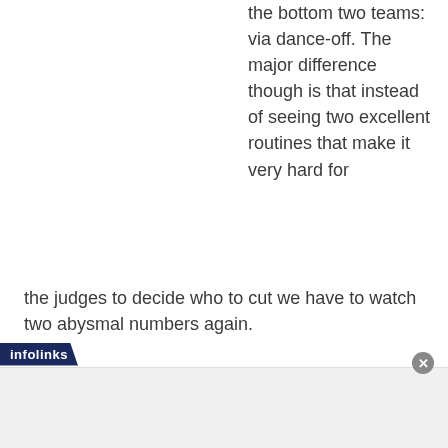the bottom two teams: via dance-off. The major difference though is that instead of seeing two excellent routines that make it very hard for the judges to decide who to cut we have to watch two abysmal numbers again.
This week it was Belinda Carlisle (with Jonathan Roberts) and Steve Wozniak (with Karina Smirnoff) who had the great misfortune of having to show of their